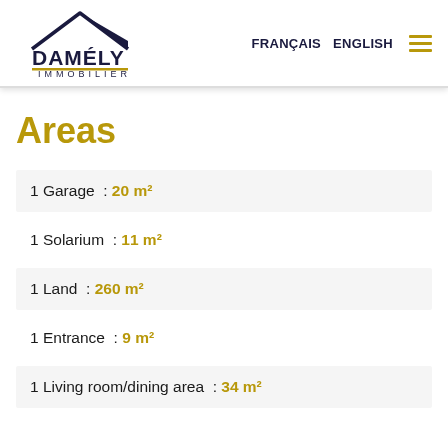DAMÉLY IMMOBILIER — FRANÇAIS  ENGLISH
Areas
1 Garage  : 20 m²
1 Solarium  : 11 m²
1 Land  : 260 m²
1 Entrance  : 9 m²
1 Living room/dining area  : 34 m²